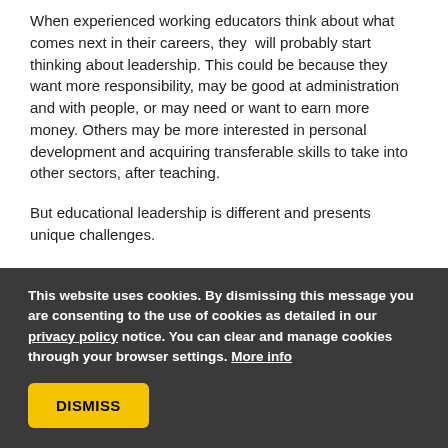When experienced working educators think about what comes next in their careers, they will probably start thinking about leadership. This could be because they want more responsibility, may be good at administration and with people, or may need or want to earn more money. Others may be more interested in personal development and acquiring transferable skills to take into other sectors, after teaching.
But educational leadership is different and presents unique challenges.
Leadership is essentially about influencing others but
This website uses cookies. By dismissing this message you are consenting to the use of cookies as detailed in our privacy policy notice. You can clear and manage cookies through your browser settings. More info
DISMISS